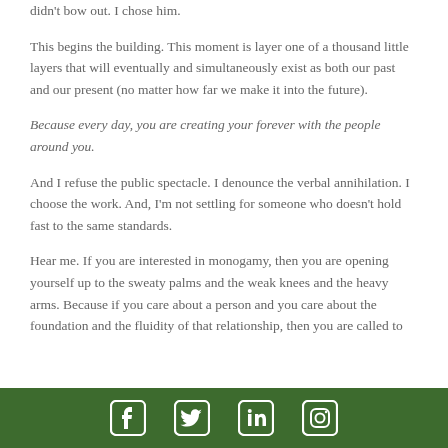didn't bow out. I chose him.
This begins the building. This moment is layer one of a thousand little layers that will eventually and simultaneously exist as both our past and our present (no matter how far we make it into the future).
Because every day, you are creating your forever with the people around you.
And I refuse the public spectacle. I denounce the verbal annihilation. I choose the work. And, I'm not settling for someone who doesn't hold fast to the same standards.
Hear me. If you are interested in monogamy, then you are opening yourself up to the sweaty palms and the weak knees and the heavy arms. Because if you care about a person and you care about the foundation and the fluidity of that relationship, then you are called to
Social media icons: Facebook, Twitter, LinkedIn, Instagram